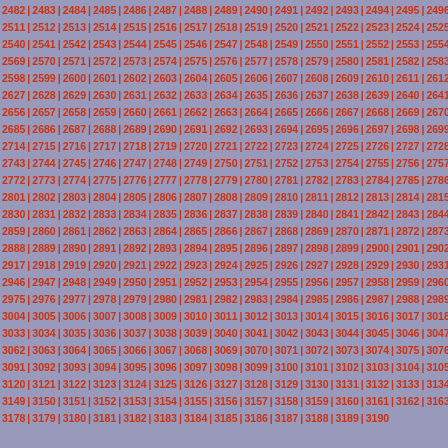| 2482 | 2483 | 2484 | 2485 | 2486 | 2487 | 2488 | 2489 | 2490 | 2491 | 2492 | 2493 | 2494 | 2495 | 2496 |
| 2511 | 2512 | 2513 | 2514 | 2515 | 2516 | 2517 | 2518 | 2519 | 2520 | 2521 | 2522 | 2523 | 2524 | 2525 |
| 2540 | 2541 | 2542 | 2543 | 2544 | 2545 | 2546 | 2547 | 2548 | 2549 | 2550 | 2551 | 2552 | 2553 | 2554 |
| 2569 | 2570 | 2571 | 2572 | 2573 | 2574 | 2575 | 2576 | 2577 | 2578 | 2579 | 2580 | 2581 | 2582 | 2583 |
| 2598 | 2599 | 2600 | 2601 | 2602 | 2603 | 2604 | 2605 | 2606 | 2607 | 2608 | 2609 | 2610 | 2611 | 2612 |
| 2627 | 2628 | 2629 | 2630 | 2631 | 2632 | 2633 | 2634 | 2635 | 2636 | 2637 | 2638 | 2639 | 2640 | 2641 |
| 2656 | 2657 | 2658 | 2659 | 2660 | 2661 | 2662 | 2663 | 2664 | 2665 | 2666 | 2667 | 2668 | 2669 | 2670 |
| 2685 | 2686 | 2687 | 2688 | 2689 | 2690 | 2691 | 2692 | 2693 | 2694 | 2695 | 2696 | 2697 | 2698 | 2699 |
| 2714 | 2715 | 2716 | 2717 | 2718 | 2719 | 2720 | 2721 | 2722 | 2723 | 2724 | 2725 | 2726 | 2727 | 2728 |
| 2743 | 2744 | 2745 | 2746 | 2747 | 2748 | 2749 | 2750 | 2751 | 2752 | 2753 | 2754 | 2755 | 2756 | 2757 |
| 2772 | 2773 | 2774 | 2775 | 2776 | 2777 | 2778 | 2779 | 2780 | 2781 | 2782 | 2783 | 2784 | 2785 | 2786 |
| 2801 | 2802 | 2803 | 2804 | 2805 | 2806 | 2807 | 2808 | 2809 | 2810 | 2811 | 2812 | 2813 | 2814 | 2815 |
| 2830 | 2831 | 2832 | 2833 | 2834 | 2835 | 2836 | 2837 | 2838 | 2839 | 2840 | 2841 | 2842 | 2843 | 2844 |
| 2859 | 2860 | 2861 | 2862 | 2863 | 2864 | 2865 | 2866 | 2867 | 2868 | 2869 | 2870 | 2871 | 2872 | 2873 |
| 2888 | 2889 | 2890 | 2891 | 2892 | 2893 | 2894 | 2895 | 2896 | 2897 | 2898 | 2899 | 2900 | 2901 | 2902 |
| 2917 | 2918 | 2919 | 2920 | 2921 | 2922 | 2923 | 2924 | 2925 | 2926 | 2927 | 2928 | 2929 | 2930 | 2931 |
| 2946 | 2947 | 2948 | 2949 | 2950 | 2951 | 2952 | 2953 | 2954 | 2955 | 2956 | 2957 | 2958 | 2959 | 2960 |
| 2975 | 2976 | 2977 | 2978 | 2979 | 2980 | 2981 | 2982 | 2983 | 2984 | 2985 | 2986 | 2987 | 2988 | 2989 |
| 3004 | 3005 | 3006 | 3007 | 3008 | 3009 | 3010 | 3011 | 3012 | 3013 | 3014 | 3015 | 3016 | 3017 | 3018 |
| 3033 | 3034 | 3035 | 3036 | 3037 | 3038 | 3039 | 3040 | 3041 | 3042 | 3043 | 3044 | 3045 | 3046 | 3047 |
| 3062 | 3063 | 3064 | 3065 | 3066 | 3067 | 3068 | 3069 | 3070 | 3071 | 3072 | 3073 | 3074 | 3075 | 3076 |
| 3091 | 3092 | 3093 | 3094 | 3095 | 3096 | 3097 | 3098 | 3099 | 3100 | 3101 | 3102 | 3103 | 3104 | 3105 |
| 3120 | 3121 | 3122 | 3123 | 3124 | 3125 | 3126 | 3127 | 3128 | 3129 | 3130 | 3131 | 3132 | 3133 | 3134 |
| 3149 | 3150 | 3151 | 3152 | 3153 | 3154 | 3155 | 3156 | 3157 | 3158 | 3159 | 3160 | 3161 | 3162 | 3163 |
| 3178 | 3179 | 3180 | 3181 | 3182 | 3183 | 3184 | 3185 | 3186 | 3187 | 3188 | 3189 | 3190 | ... | ... |